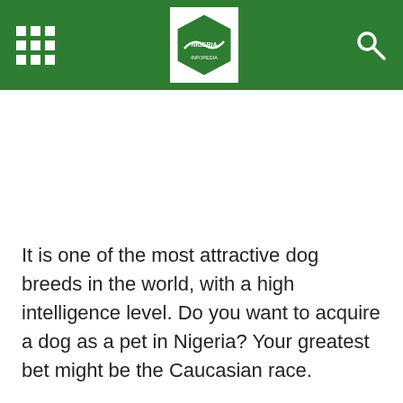[Grid menu icon] [Nigeria website logo] [Search icon]
It is one of the most attractive dog breeds in the world, with a high intelligence level. Do you want to acquire a dog as a pet in Nigeria? Your greatest bet might be the Caucasian race.
ROTTWEILER
Rottweiler Dogs are a breed of dog that originated in Germany. The Rottweiler is one of the most obedient dog